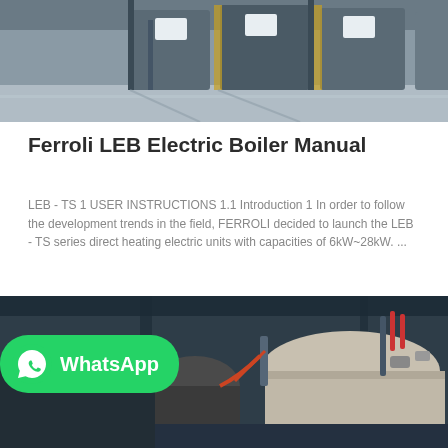[Figure (photo): Industrial factory floor with machinery and equipment lined up, concrete floor, overhead structures visible]
Ferroli LEB Electric Boiler Manual
LEB - TS 1 USER INSTRUCTIONS 1.1 Introduction 1 In order to follow the development trends in the field, FERROLI decided to launch the LEB - TS series direct heating electric units with capacities of 6kW~28kW. ...
[Figure (photo): Industrial boiler equipment in a facility, large cylindrical tanks and piping visible, dark industrial setting. WhatsApp badge overlaid in bottom-left corner.]